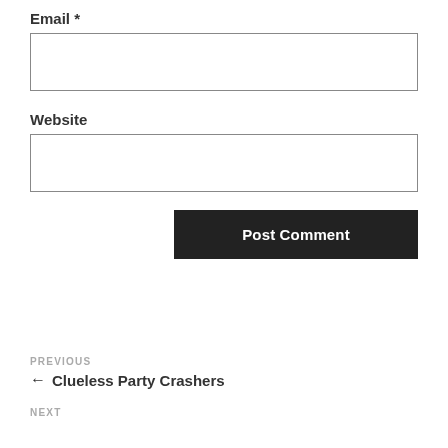Email *
[Figure (other): Empty text input box for Email field]
Website
[Figure (other): Empty text input box for Website field]
Post Comment
PREVIOUS
← Clueless Party Crashers
NEXT